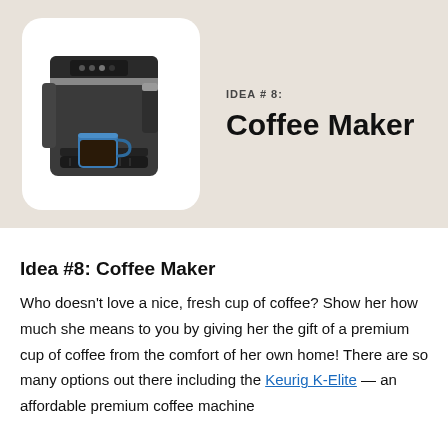[Figure (photo): A dark grey Keurig coffee maker with a blue mug positioned under the brew spout on a white rounded-rectangle background, set against a beige/tan banner background. Text overlay reads 'IDEA # 8:' and 'Coffee Maker'.]
Idea #8: Coffee Maker
Who doesn’t love a nice, fresh cup of coffee? Show her how much she means to you by giving her the gift of a premium cup of coffee from the comfort of her own home! There are so many options out there including the Keurig K-Elite — an affordable premium coffee machine